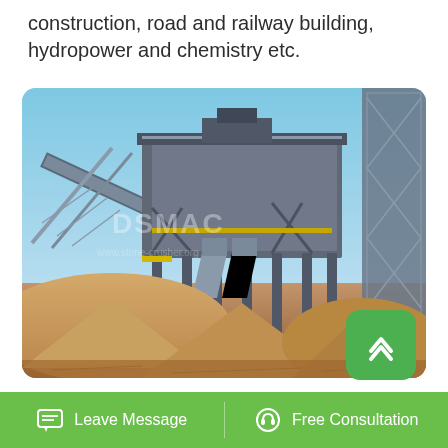construction, road and railway building, hydropower and chemistry etc.
[Figure (photo): Large industrial stone crushing plant facility with steel conveyor structures, silos, and piles of crushed aggregate/sand in the foreground. Watermark reads DSMAC. Clear blue sky background.]
Crusher Supplier Stone Crusher Suppliers
Leave Message | Free Consultation